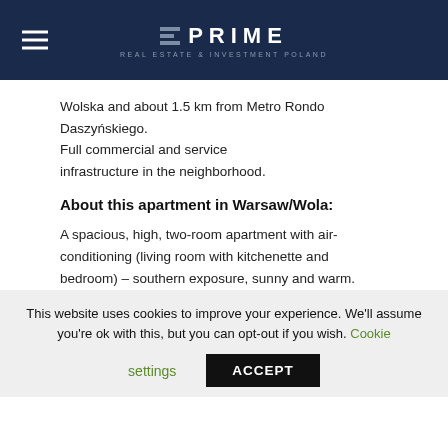PRIME REAL ESTATE & INVESTMENT POLAND
Wolska and about 1.5 km from Metro Rondo Daszyńskiego.
Full commercial and service infrastructure in the neighborhood.
About this apartment in Warsaw/Wola:
A spacious, high, two-room apartment with air-conditioning (living room with kitchenette and bedroom) – southern exposure, sunny and warm.
The flat is fully finished
and furnished to a high standard.
Exit to a large 9 m2 balcony
from both rooms.
The kitchen is fully
This website uses cookies to improve your experience. We'll assume you're ok with this, but you can opt-out if you wish. Cookie settings ACCEPT